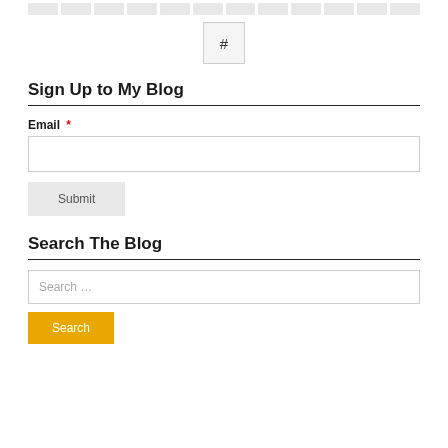[Figure (other): Navigation strip with multiple gray cells at top of page]
[Figure (other): Hash symbol button (#) centered below nav strip]
Sign Up to My Blog
Email *
[Figure (other): Email input text field]
[Figure (other): Submit button with gray background]
Search The Blog
[Figure (other): Search input field with placeholder text 'Search ...']
[Figure (other): Search button with orange/yellow background]